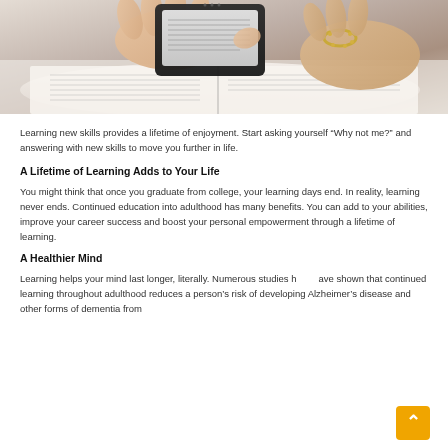[Figure (photo): Person holding a tablet/e-reader over an open book on a white surface, wearing a gold bracelet.]
Learning new skills provides a lifetime of enjoyment. Start asking yourself “Why not me?” and answering with new skills to move you further in life.
A Lifetime of Learning Adds to Your Life
You might think that once you graduate from college, your learning days end. In reality, learning never ends. Continued education into adulthood has many benefits. You can add to your abilities, improve your career success and boost your personal empowerment through a lifetime of learning.
A Healthier Mind
Learning helps your mind last longer, literally. Numerous studies have shown that continued learning throughout adulthood reduces a person’s risk of developing Alzheimer’s disease and other forms of dementia from